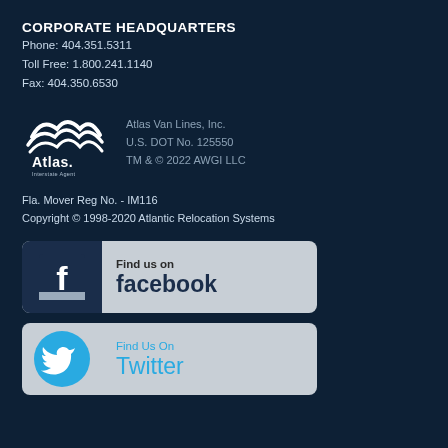CORPORATE HEADQUARTERS
Phone: 404.351.5311
Toll Free: 1.800.241.1140
Fax: 404.350.6530
[Figure (logo): Atlas Interstate Agent logo — white stylized mountains/waves above 'Atlas.' wordmark with 'Interstate Agent' beneath]
Atlas Van Lines, Inc.
U.S. DOT No. 125550
TM & © 2022 AWGI LLC
Fla. Mover Reg No. - IM116
Copyright © 1998-2020 Atlantic Relocation Systems
[Figure (other): Find us on facebook button banner with Facebook 'f' icon]
[Figure (other): Find Us On Twitter button banner with Twitter bird icon]